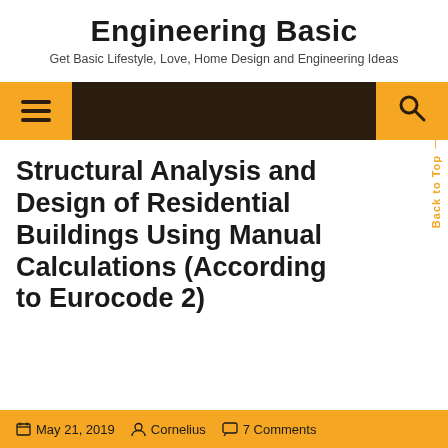Engineering Basic
Get Basic Lifestyle, Love, Home Design and Engineering Ideas
[Figure (screenshot): Navigation bar with dark brown background, yellow hamburger menu icon on left, yellow search icon on right]
Structural Analysis and Design of Residential Buildings Using Manual Calculations (According to Eurocode 2)
May 21, 2019  Cornelius  7 Comments